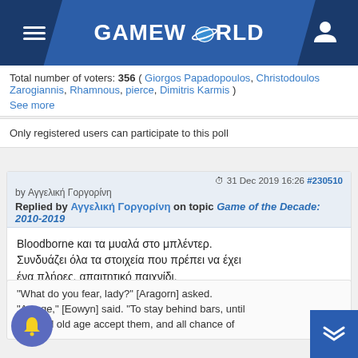GAMEWORLD
Total number of voters: 356 ( Giorgos Papadopoulos, Christodoulos Zarogiannis, Rhamnous, pierce, Dimitris Karmis ) See more
Only registered users can participate to this poll
31 Dec 2019 16:26 #230510 by Αγγελική Γοργορίνη
Replied by Αγγελική Γοργορίνη on topic Game of the Decade: 2010-2019
Bloodborne και τα μυαλά στο μπλέντερ. Συνδυάζει όλα τα στοιχεία που πρέπει να έχει ένα πλήρες, απαιτητικό παιχνίδι.
"What do you fear, lady?" [Aragorn] asked. "A cage," [Eowyn] said. "To stay behind bars, until use and old age accept them, and all chance of